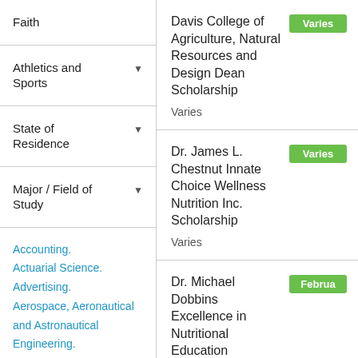Faith
Athletics and Sports
State of Residence
Major / Field of Study
Accounting. Actuarial Science. Advertising. Aerospace, Aeronautical and Astronautical Engineering. Agricultural and Food Products Processing. Agricultural Animal Breeding.
Davis College of Agriculture, Natural Resources and Design Dean Scholarship
Varies
Dr. James L. Chestnut Innate Choice Wellness Nutrition Inc. Scholarship
Varies
Dr. Michael Dobbins Excellence in Nutritional Education Scholarship
$10,000
Flora Laney Thornton Scholarship
Varies